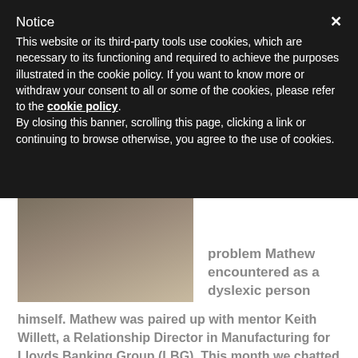Notice
This website or its third-party tools use cookies, which are necessary to its functioning and required to achieve the purposes illustrated in the cookie policy. If you want to know more or withdraw your consent to all or some of the cookies, please refer to the cookie policy.
By closing this banner, scrolling this page, clicking a link or continuing to browse otherwise, you agree to the use of cookies.
[Figure (photo): Person wearing dark clothing, upper body visible, indoor background]
problem Mathew encountered as a dyslexic person himself. Mathew was paired up with mentor Keith Willett, a Relationship Director in Manufacturing for Lloyds Banking Group (LBG). This month we chatted to Mathew and Keith about how confidence is key, and how the merits of mentoring goes both ways.
Mathew's Story